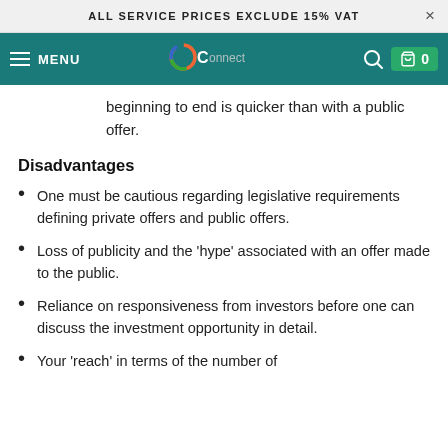ALL SERVICE PRICES EXCLUDE 15% VAT
MENU
beginning to end is quicker than with a public offer.
Disadvantages
One must be cautious regarding legislative requirements defining private offers and public offers.
Loss of publicity and the ‘hype’ associated with an offer made to the public.
Reliance on responsiveness from investors before one can discuss the investment opportunity in detail.
Your ‘reach’ in terms of the number of